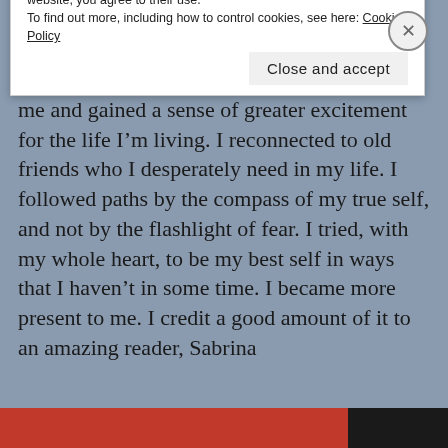best way. It started with a birthday that made me go, “Whoa middle-age-ish.” But that also hit me in the best way. I felt a fire lit beneath me and gained a sense of greater excitement for the life I’m living. I reconnected to old friends who I desperately need in my life. I followed paths by the compass of my true self, and not by the flashlight of fear. I tried, with my whole heart, to be my best self in ways that I haven’t in some time. I became more present to me. I credit a good amount of it to an amazing reader, Sabrina (http://www.sabrinapureofheart.com/sabrina)
Privacy & Cookies: This site uses cookies. By continuing to use this website, you agree to their use.
To find out more, including how to control cookies, see here: Cookie Policy
Close and accept